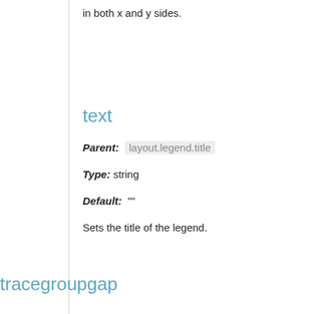in both x and y sides.
text
Parent:  layout.legend.title
Type:  string
Default:  ""
Sets the title of the legend.
tracegroupgap
Parent:  layout.legend
Type:  number greater than or equal to 0
Default:  10
Sets the amount of vertical space (in px) between